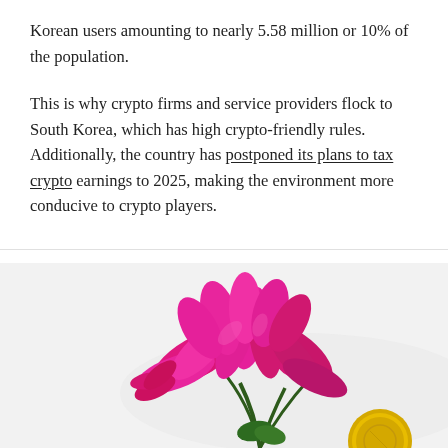Korean users amounting to nearly 5.58 million or 10% of the population.
This is why crypto firms and service providers flock to South Korea, which has high crypto-friendly rules. Additionally, the country has postponed its plans to tax crypto earnings to 2025, making the environment more conducive to crypto players.
August 8, 2022  Sujha Sundararajan  News  Cronos, Cryptocurrencies-News, Fundamental, Terra, TerraUSD, Video
[Figure (photo): Photo of pink/magenta flowering cactus (Christmas cactus) with a gold coin partially visible at the bottom right, on a white/light grey background.]